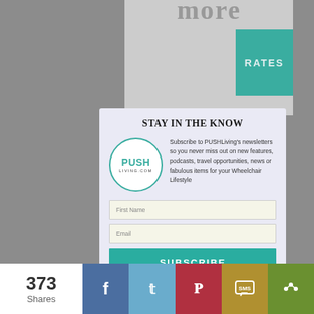[Figure (screenshot): Top portion of a webpage showing a gray background with a partial white/light card area and a teal RATES button]
STAY IN THE KNOW
[Figure (logo): PUSHLiving.com circular logo with teal border, text PUSH in teal and LIVING.COM below]
Subscribe to PUSHLiving's newsletters so you never miss out on new features, podcasts, travel opportunities, news or fabulous items for your Wheelchair Lifestyle
First Name
Email
SUBSCRIBE
373 Shares